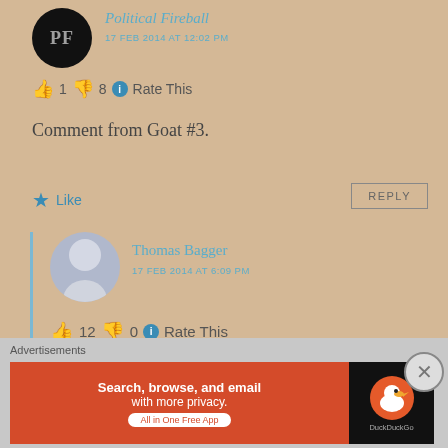Political Fireball
17 FEB 2014 AT 12:02 PM
👍 1 👎 8 ℹ Rate This
Comment from Goat #3.
★ Like
REPLY
Thomas Bagger
17 FEB 2014 AT 6:09 PM
👍 12 👎 0 ℹ Rate This
Goat#3? I feel like a number 2 if you know what I mean.
Advertisements
[Figure (screenshot): DuckDuckGo advertisement banner: Search, browse, and email with more privacy. All in One Free App]